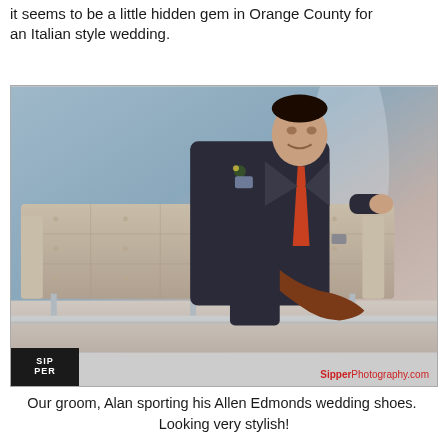it seems to be a little hidden gem in Orange County for an Italian style wedding.
[Figure (photo): A groom named Alan sitting relaxed on a tufted beige modern sofa, wearing a dark suit with a red/orange tie and a boutonniere, crossed legs showing brown leather dress shoes, in front of a softly lit grey-blue backdrop with a glass table in the foreground. Sipper Photography logo and watermark visible.]
Our groom, Alan sporting his Allen Edmonds wedding shoes.  Looking very stylish!